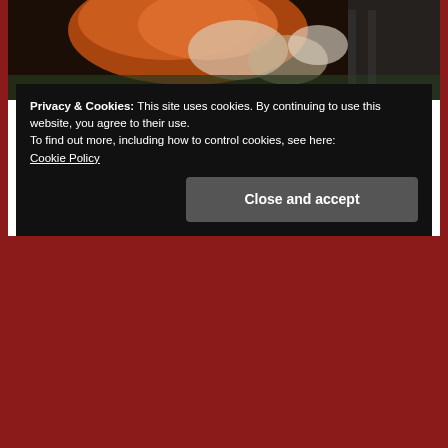[Figure (photo): Photo of a cat (red/orange colored) stretching or lying on a surface, viewed from above, partially cropped.]
Verbs are really important!  If there isn't a verb in a sentence, it's NOT a sentence! They are the action word – they tell us what something or someone is doing or being in a sentence.  For example:
The cat stretched.
Privacy & Cookies: This site uses cookies. By continuing to use this website, you agree to their use.
To find out more, including how to control cookies, see here:
Cookie Policy